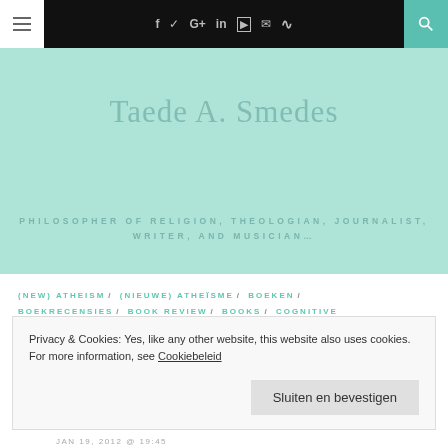≡  f  ✦  G+  in  ▶  ✉  ⊃  🔍
Taede A. Smedes
PHILOSOPHER OF RELIGION, THEOLOGIAN, JOURNALIST, WRITER, AND MUSICIAN…
(NEW) ATHEISM / (NIEUWE) ATHEÏSME / BOEKEN / BOEKRECENSIES / BOOK REVIEW / BOOKS / COGNITIVE SCIENCE OF RELIGION / COGNITIVE SCIENCE OF RELIGION (CSR) / ENGLISH POSTS / PHILOSOPHY /
Privacy & Cookies: Yes, like any other website, this website also uses cookies. For more information, see Cookiebeleid
Sluiten en bevestigen
JAN 19, 2012 @ 19:45